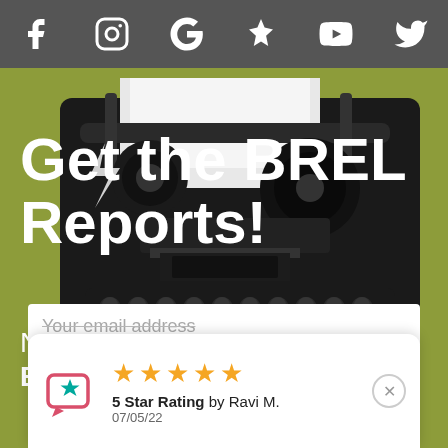Social media icons: Facebook, Instagram, Google, Yelp, YouTube, Twitter
[Figure (photo): Black vintage typewriter with paper loaded, on olive green background]
Get the BREL Reports!
No spam. No harassment. EVER.
Your email address
5 Star Rating by Ravi M. 07/05/22